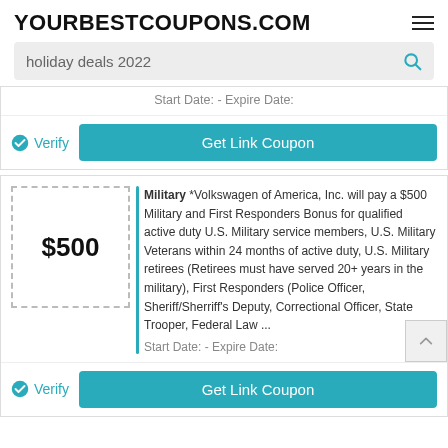YOURBESTCOUPONS.COM
holiday deals 2022
Start Date: - Expire Date:
Verify
Get Link Coupon
[Figure (other): Dashed border coupon box showing $500 discount amount]
Military *Volkswagen of America, Inc. will pay a $500 Military and First Responders Bonus for qualified active duty U.S. Military service members, U.S. Military Veterans within 24 months of active duty, U.S. Military retirees (Retirees must have served 20+ years in the military), First Responders (Police Officer, Sheriff/Sherriff's Deputy, Correctional Officer, State Trooper, Federal Law ...
Start Date: - Expire Date:
Verify
Get Link Coupon